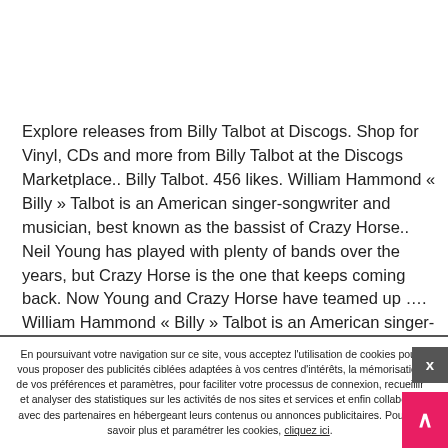Explore releases from Billy Talbot at Discogs. Shop for Vinyl, CDs and more from Billy Talbot at the Discogs Marketplace.. Billy Talbot. 456 likes. William Hammond « Billy » Talbot is an American singer-songwriter and musician, best known as the bassist of Crazy Horse.. Neil Young has played with plenty of bands over the years, but Crazy Horse is the one that keeps coming back. Now Young and Crazy Horse have teamed up …. William Hammond « Billy » Talbot is an American singer-
En poursuivant votre navigation sur ce site, vous acceptez l'utilisation de cookies pour vous proposer des publicités ciblées adaptées à vos centres d'intérêts, la mémorisation de vos préférences et paramètres, pour faciliter votre processus de connexion, recueillir et analyser des statistiques sur les activités de nos sites et services et enfin collaborer avec des partenaires en hébergeant leurs contenus ou annonces publicitaires. Pour en savoir plus et paramétrer les cookies, cliquez ici.